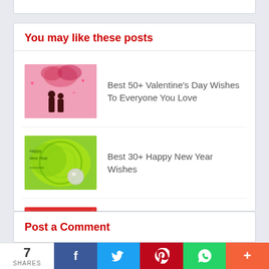You may like these posts
Best 50+ Valentine's Day Wishes To Everyone You Love
Best 30+ Happy New Year Wishes
Best [[85]] Merry Christmas Wishes WhatsApp Status
Post a Comment
7 SHARES